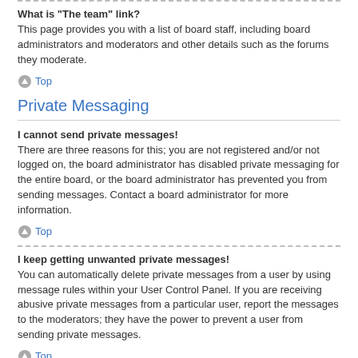What is “The team” link?
This page provides you with a list of board staff, including board administrators and moderators and other details such as the forums they moderate.
Top
Private Messaging
I cannot send private messages!
There are three reasons for this; you are not registered and/or not logged on, the board administrator has disabled private messaging for the entire board, or the board administrator has prevented you from sending messages. Contact a board administrator for more information.
Top
I keep getting unwanted private messages!
You can automatically delete private messages from a user by using message rules within your User Control Panel. If you are receiving abusive private messages from a particular user, report the messages to the moderators; they have the power to prevent a user from sending private messages.
Top
I have received a spamming or abusive email from someone on this